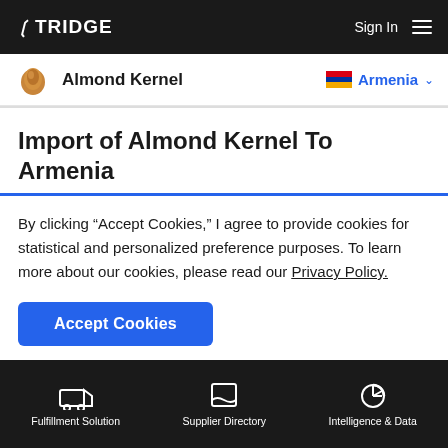TRIDGE  Sign In
Almond Kernel  Armenia
Import of Almond Kernel To Armenia
Discover import data of Almond Kernel to Armenia. Get import value, volume, price data, trends and more. The information below is based on the HS code 080212 (Almonds - fresh or
By clicking "Accept Cookies," I agree to provide cookies for statistical and personalized preference purposes. To learn more about our cookies, please read our Privacy Policy.
Accept Cookies
Fulfillment Solution  Supplier Directory  Intelligence & Data